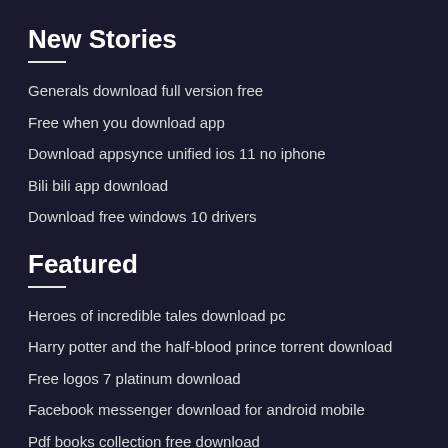New Stories
Generals download full version free
Free when you download app
Download appsynce unified ios 11 no iphone
Bili bili app download
Download free windows 10 drivers
Featured
Heroes of incredible tales download pc
Harry potter and the half-blood prince torrent download
Free logos 7 platinum download
Facebook messenger download for android mobile
Pdf books collection free download